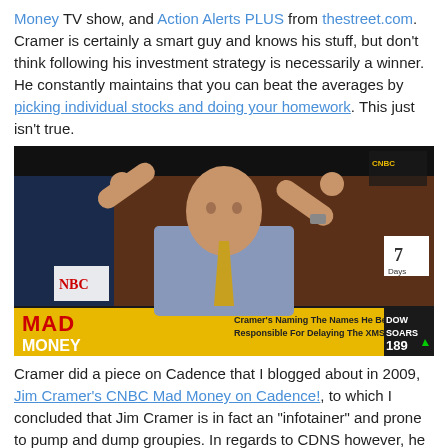Money TV show, and Action Alerts PLUS from thestreet.com. Cramer is certainly a smart guy and knows his stuff, but don't think following his investment strategy is necessarily a winner. He constantly maintains that you can beat the averages by picking individual stocks and doing your homework. This just isn't true.
[Figure (photo): Screenshot of Jim Cramer on Mad Money CNBC TV show, gesturing with both hands raised to his temples. Lower-third graphic reads: Cramer's Naming The Names He Believes Are Responsible For Delaying The XMSR/SIRI Merger. DOW SOARS 189.]
Cramer did a piece on Cadence that I blogged about in 2009, Jim Cramer's CNBC Mad Money on Cadence!, to which I concluded that Jim Cramer is in fact an "infotainer" and prone to pump and dump groupies. In regards to CDNS however, he got lucky (CDNS has doubled since